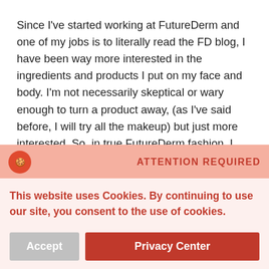Since I've started working at FutureDerm and one of my jobs is to literally read the FD blog, I have been way more interested in the ingredients and products I put on my face and body. I'm not necessarily skeptical or wary enough to turn a product away, (as I've said before, I will try all the makeup) but just more interested. So, in true FutureDerm fashion, I wanted to take a closer look at the patented ingredient used that makes this product special.
So, we know that as people, we're mostly water. This is also true for our skin, and as we age, our skin begins to lose its
[Figure (other): Cookie consent banner overlay with attention required header, cookie usage message, and Accept / Privacy Center buttons]
it will help to attract moisture to the skin, resulting in a